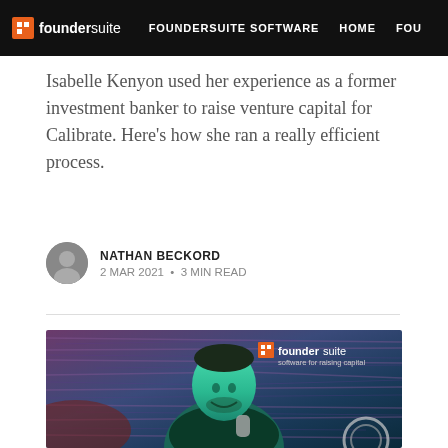foundersuite | FOUNDERSUITE SOFTWARE | HOME | FOU
Isabelle Kenyon used her experience as a former investment banker to raise venture capital for Calibrate. Here's how she ran a really efficient process.
NATHAN BECKORD
2 MAR 2021 • 3 MIN READ
[Figure (photo): Photo of a man smiling at a podcast microphone, with artistic brush-stroke filter applied in teal and purple tones. Foundersuite logo overlay in top right corner reads 'foundersuite software for raising capital'.]